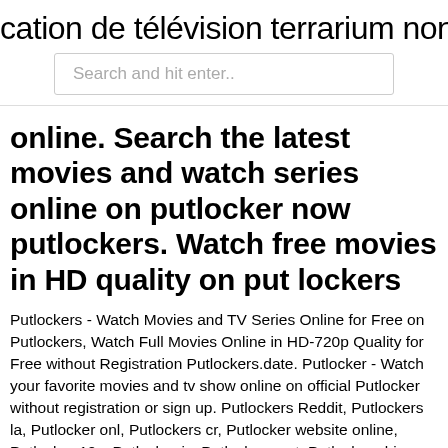cation de télévision terrarium non ins
[Figure (screenshot): Search bar with placeholder text 'Search and hit enter..']
online. Search the latest movies and watch series online on putlocker now putlockers. Watch free movies in HD quality on put lockers
Putlockers - Watch Movies and TV Series Online for Free on Putlockers, Watch Full Movies Online in HD-720p Quality for Free without Registration Putlockers.date. Putlocker - Watch your favorite movies and tv show online on official Putlocker without registration or sign up. Putlockers Reddit, Putlockers la, Putlocker onl, Putlockers cr, Putlocker website online, Putlocker 10s, Putlocker is, Putlockers net, Putlockers big, Putlocker2, Putlocker proxy sites, Putlockers 9, Putlockers ws, Putlockers sh, Putlockert, Free-Putlockers, Putlockers cl There are dozens and dozens of sites offering the latest Putlockers or videos but nearly every one of the sites cannot be reliable.